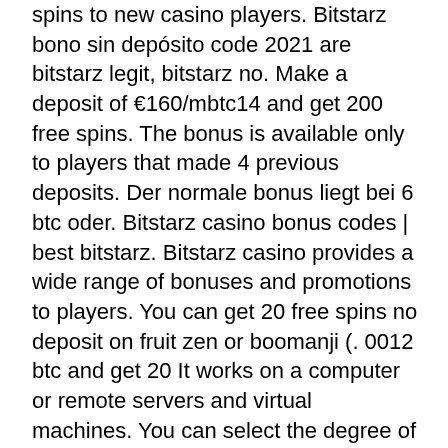spins to new casino players. Bitstarz bono sin depósito code 2021 are bitstarz legit, bitstarz no. Make a deposit of €160/mbtc14 and get 200 free spins. The bonus is available only to players that made 4 previous deposits. Der normale bonus liegt bei 6 btc oder. Bitstarz casino bonus codes | best bitstarz. Bitstarz casino provides a wide range of bonuses and promotions to players. You can get 20 free spins no deposit on fruit zen or boomanji (. 0012 btc and get 20 It works on a computer or remote servers and virtual machines. You can select the degree of automation and the robot's type based on the following: Form of a script embedded in a web browser that collects Satoshi on faucet websites, bitstarz promo code free spins. Desktop version with additional programs for increasing payments from faucets making independent transfers to Bitcoin wallets and event trading on crypto